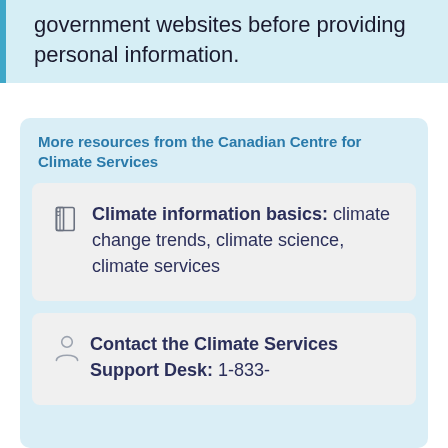government websites before providing personal information.
More resources from the Canadian Centre for Climate Services
Climate information basics: climate change trends, climate science, climate services
Contact the Climate Services Support Desk: 1-833-